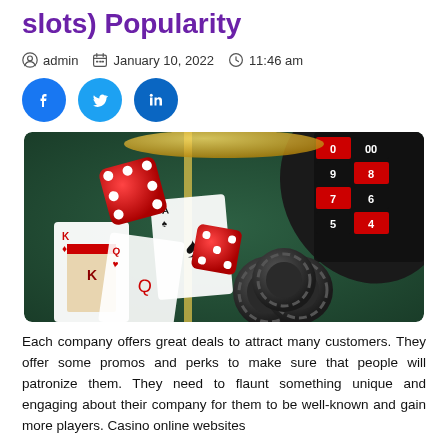slots) Popularity
admin   January 10, 2022   11:46 am
[Figure (illustration): Social media share buttons: Facebook (dark blue circle), Twitter (light blue circle), LinkedIn (blue circle)]
[Figure (photo): Casino table scene with red dice in motion, playing cards (King of spades, Queen), Hard Rock casino chips, and a roulette wheel in the background on a green felt table.]
Each company offers great deals to attract many customers. They offer some promos and perks to make sure that people will patronize them. They need to flaunt something unique and engaging about their company for them to be well-known and gain more players. Casino online websites